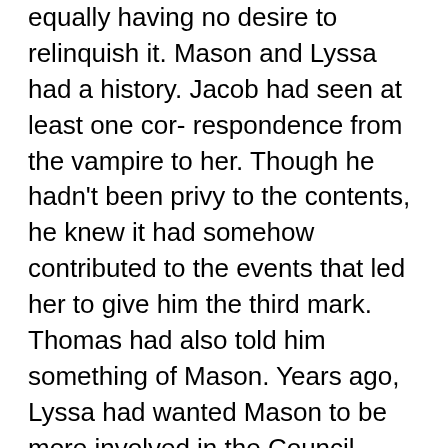equally having no desire to relinquish it. Mason and Lyssa had a history. Jacob had seen at least one cor- respondence from the vampire to her. Though he hadn't been privy to the contents, he knew it had somehow contributed to the events that led her to give him the third mark. Thomas had also told him something of Mason. Years ago, Lyssa had wanted Mason to be more involved in the Council formation, but Mason apparently was not a joiner. He wanted nothing more than seclusion and turned away from the notion of "civilized" vampires. Lyssa had been disap- pointed, perhaps even feeling a bit betrayed by the friend she'd hoped she could count on